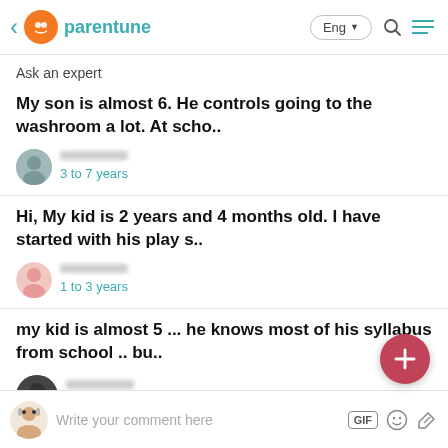parentune
Ask an expert
My son is almost 6. He controls going to the washroom a lot. At scho..
3 to 7 years
Hi, My kid is 2 years and 4 months old. I have started with his play s..
1 to 3 years
my kid is almost 5 ... he knows most of his syllabus from school .. bu..
3 to 7 years
Write your comment here